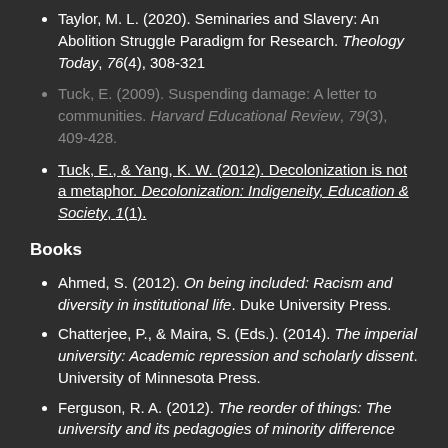Taylor, M. L. (2020). Seminaries and Slavery: An Abolition Struggle Paradigm for Research. Theology Today, 76(4), 308-321
Tuck, E. (2009). Suspending damage: A letter to communities. Harvard Educational Review, 79(3), 409-428.
Tuck, E., & Yang, K. W. (2012). Decolonization is not a metaphor. Decolonization: Indigeneity, Education & Society, 1(1).
Books
Ahmed, S. (2012). On being included: Racism and diversity in institutional life. Duke University Press.
Chatterjee, P., & Maira, S. (Eds.). (2014). The imperial university: Academic repression and scholarly dissent. University of Minnesota Press.
Ferguson, R. A. (2012). The reorder of things: The university and its pedagogies of minority difference